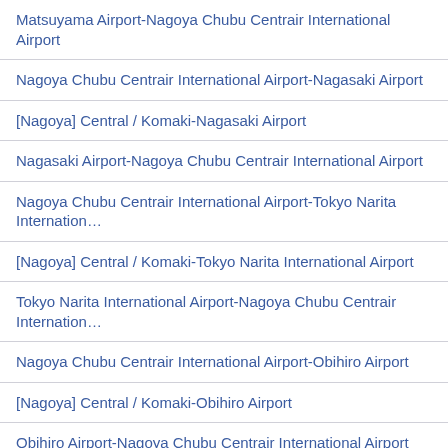Matsuyama Airport-Nagoya Chubu Centrair International Airport
Nagoya Chubu Centrair International Airport-Nagasaki Airport
[Nagoya] Central / Komaki-Nagasaki Airport
Nagasaki Airport-Nagoya Chubu Centrair International Airport
Nagoya Chubu Centrair International Airport-Tokyo Narita Internation…
[Nagoya] Central / Komaki-Tokyo Narita International Airport
Tokyo Narita International Airport-Nagoya Chubu Centrair Internation…
Nagoya Chubu Centrair International Airport-Obihiro Airport
[Nagoya] Central / Komaki-Obihiro Airport
Obihiro Airport-Nagoya Chubu Centrair International Airport
Nagoya Chubu Centrair International Airport-Oita Airport
[Nagoya] Central / Komaki-Oita Airport
Oita Airport-Nagoya Chubu Centrair International Airport
Nagoya Chubu Centrair International Airport-Okinawa Naha Airport